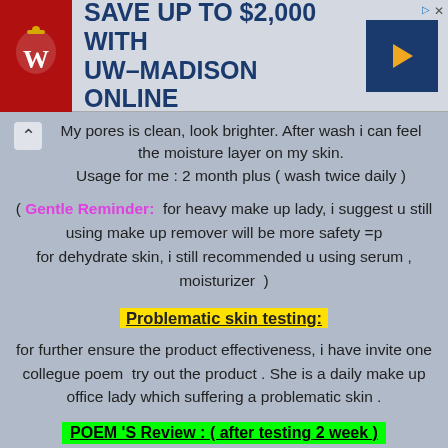[Figure (screenshot): Advertisement banner: SAVE UP TO $2,000 WITH UW-MADISON ONLINE with University of Wisconsin-Madison logo on left and blue arrow button on right]
My pores is clean, look brighter. After wash i can feel the moisture layer on my skin.
Usage for me : 2 month plus ( wash twice daily )
( Gentle Reminder:  for heavy make up lady, i suggest u still using make up remover will be more safety =p
for dehydrate skin, i still recommended u using serum ,
moisturizer  )
Problematic skin testing:
for further ensure the product effectiveness, i have invite one collegue poem  try out the product . She is a daily make up office lady which suffering a problematic skin .
POEM 'S Review : ( after testing 2 week )